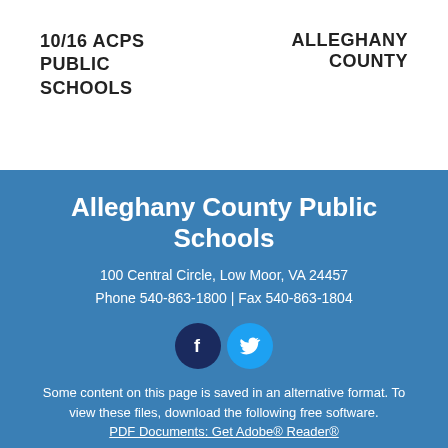10/16 ACPS PUBLIC SCHOOLS    ALLEGHANY COUNTY
Alleghany County Public Schools
100 Central Circle, Low Moor, VA 24457
Phone 540-863-1800 | Fax 540-863-1804
[Figure (illustration): Facebook and Twitter social media icons as circles]
Some content on this page is saved in an alternative format. To view these files, download the following free software.
PDF Documents: Get Adobe® Reader®
Website by SchoolMessenger Presence. © 2022 Intrado Corporation. All rights reserved.